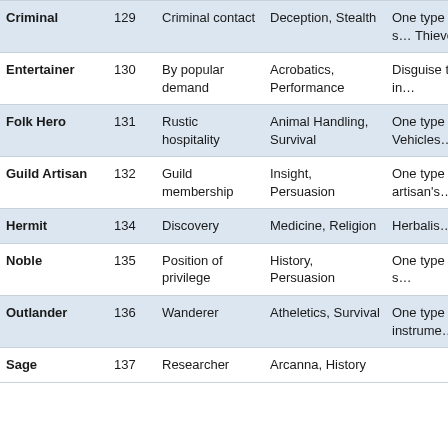| Background | Page | Feature | Skills | Tools |
| --- | --- | --- | --- | --- |
| Criminal | 129 | Criminal contact | Deception, Stealth | One type gaming s… Thieves'… |
| Entertainer | 130 | By popular demand | Acrobatics, Performance | Disguise type of in… |
| Folk Hero | 131 | Rustic hospitality | Animal Handling, Survival | One type artisan's Vehicles… |
| Guild Artisan | 132 | Guild membership | Insight, Persuasion | One type artisan's… |
| Hermit | 134 | Discovery | Medicine, Religion | Herbalis… |
| Noble | 135 | Position of privilege | History, Persuasion | One type gaming s… |
| Outlander | 136 | Wanderer | Atheletics, Survival | One type musical instrume… |
| Sage | 137 | Researcher | Arcanna, History |  |